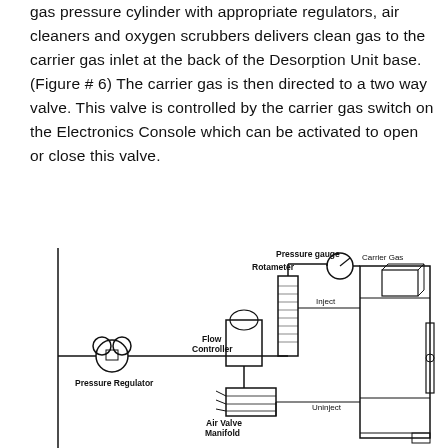gas pressure cylinder with appropriate regulators, air cleaners and oxygen scrubbers delivers clean gas to the carrier gas inlet at the back of the Desorption Unit base. (Figure # 6) The carrier gas is then directed to a two way valve. This valve is controlled by the carrier gas switch on the Electronics Console which can be activated to open or close this valve.
[Figure (schematic): Engineering schematic showing a gas carrier system with components: Pressure Regulator, Flow Controller, Rotameter, Pressure gauge, Air Valve Manifold, and a Carrier Gas unit with Inject and Uninject labels.]